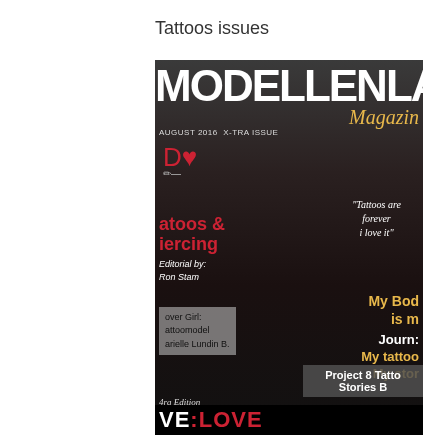Tattoos issues
[Figure (photo): Cover of Modellenland Magazine, August 2016 X-TRA Issue. Features a tattooed female model with long dark hair posing with hands in hair. Magazine title MODELLENLAND in large bold text at top, with 'Magazine' in italic script. Text overlays include: 'Tattoos & Piercing Editorial by: Ron Stam', quote 'Tattoos are forever i love it', 'My Body is m[y] Journ[ey] My tattoo My stor[y]', 'Cover Girl: Tattoomodel Marielle Lundin B.', 'Project 8 Tatto[o] Stories B[y]', '4ra Edition', 'VE:LOVE']